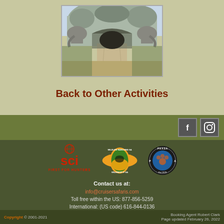[Figure (photo): Photo of a museum or zoo exhibit entrance with large elephant statues and rocky archway, pathway leading inside]
Back to Other Activities
[Figure (logo): Social media icons: Facebook and Instagram]
[Figure (logo): SCI (Safari Club International) - First for Hunters logo in red]
[Figure (logo): Wildlife Ranching SA / Wildreofyf SA badge logo - orange and green]
[Figure (logo): PHASA (Professional Hunters Association of South Africa) circular logo, black and blue, Est 1978]
Contact us at:
info@cruisersafaris.com
Toll free within the US: 877-856-5259
International: (US code) 616-844-0136
Copyright © 2001-2021   Booking Agent Robert Clark  Page updated February 26, 2022